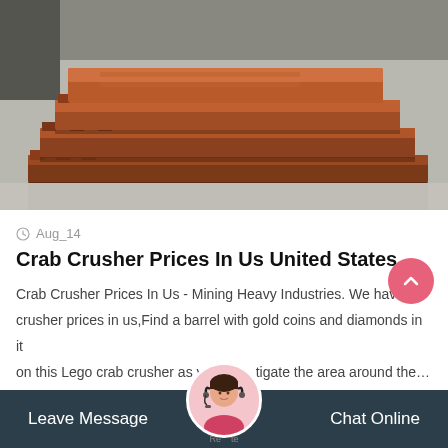[Figure (photo): Stack of heavy industrial crusher jaw plates (manganese steel, brownish-orange with rust), stacked flat on a concrete floor in an industrial warehouse. Interlocking tooth patterns visible on the edges.]
Aug_14
Crab Crusher Prices In Us United States
Crab Crusher Prices In Us - Mining Heavy Industries. We have crusher prices in us,Find a barrel with gold coins and diamonds in it on this Lego crab crusher as you investigate the area around the…
Leave Message   Chat Online